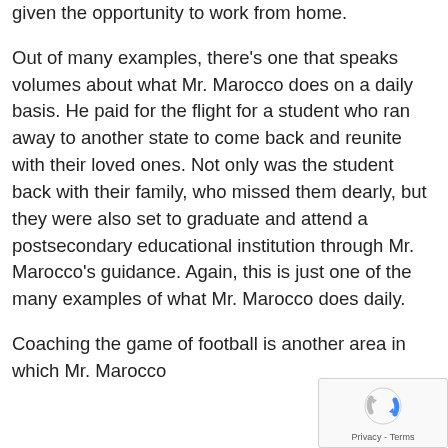given the opportunity to work from home.
Out of many examples, there's one that speaks volumes about what Mr. Marocco does on a daily basis. He paid for the flight for a student who ran away to another state to come back and reunite with their loved ones. Not only was the student back with their family, who missed them dearly, but they were also set to graduate and attend a postsecondary educational institution through Mr. Marocco's guidance. Again, this is just one of the many examples of what Mr. Marocco does daily.
Coaching the game of football is another area in which Mr. Marocco